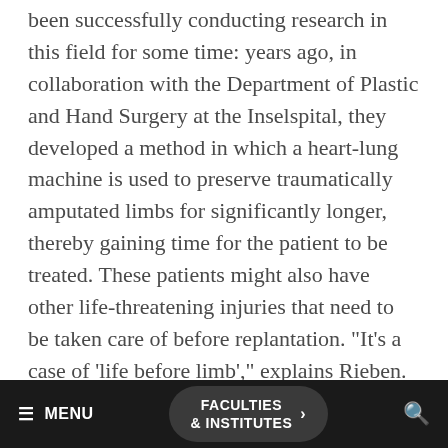been successfully conducting research in this field for some time: years ago, in collaboration with the Department of Plastic and Hand Surgery at the Inselspital, they developed a method in which a heart-lung machine is used to preserve traumatically amputated limbs for significantly longer, thereby gaining time for the patient to be treated. These patients might also have other life-threatening injuries that need to be taken care of before replantation. "It's a case of ‘life before limb’," explains Rieben.
His group has also been working for a while on
MENU   FACULTIES & INSTITUTES >   [search icon]